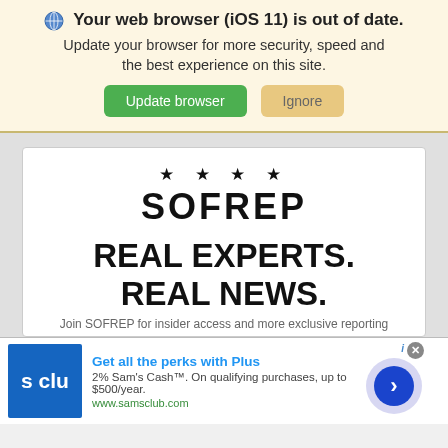🌐 Your web browser (iOS 11) is out of date. Update your browser for more security, speed and the best experience on this site.
[Figure (screenshot): Two buttons: green 'Update browser' and tan 'Ignore']
[Figure (logo): SOFREP logo with four stars above, tagline REAL EXPERTS. REAL NEWS.]
[Figure (infographic): Sam's Club Plus ad: logo on left, 'Get all the perks with Plus', '2% Sam's Cash. On qualifying purchases, up to $500/year.' www.samsclub.com, arrow button on right]